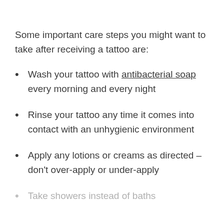Some important care steps you might want to take after receiving a tattoo are:
Wash your tattoo with antibacterial soap every morning and every night
Rinse your tattoo any time it comes into contact with an unhygienic environment
Apply any lotions or creams as directed – don't over-apply or under-apply
Take showers instead of baths